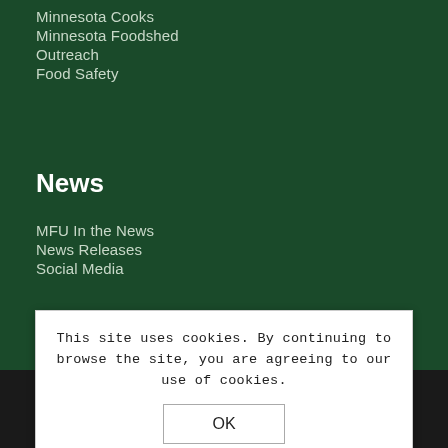Minnesota Cooks
Minnesota Foodshed
Outreach
Food Safety
News
MFU In the News
News Releases
Social Media
About MFU
Executive Committee
Staff
This site uses cookies. By continuing to browse the site, you are agreeing to our use of cookies.
OK